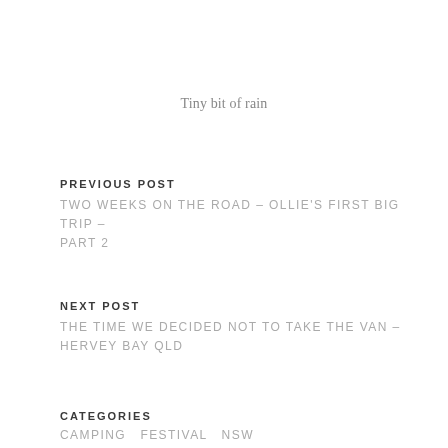Tiny bit of rain
PREVIOUS POST
TWO WEEKS ON THE ROAD – OLLIE'S FIRST BIG TRIP – PART 2
NEXT POST
THE TIME WE DECIDED NOT TO TAKE THE VAN – HERVEY BAY QLD
CATEGORIES
CAMPING  FESTIVAL  NSW